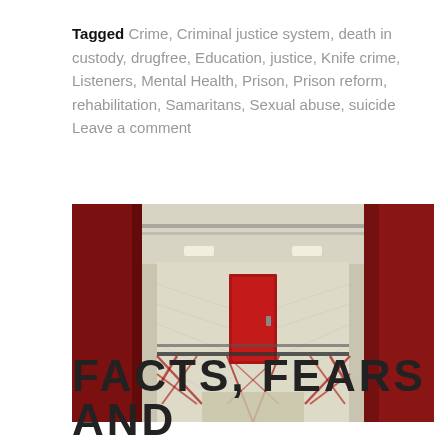Tagged Crime, Criminal justice system, death in custody, drugfree, Education, justice, Knife crime, Listeners, Mental Health, Prison, Prison reform, rehabilitation, Samaritans, Sexual abuse, suicide   Leave a comment
[Figure (photo): Interior of a prison wing viewed through bars or a cell door opening. Red walls on either side frame a view of white-tiled prison wing interior with a red door, metal railings, and overhead lighting.]
FACTS, FEARS AND